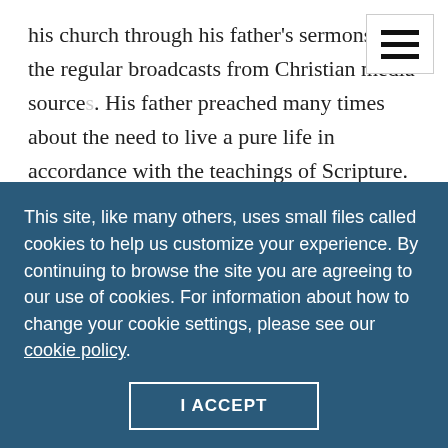his church through his father's sermons and the regular broadcasts from Christian media sources. His father preached many times about the need to live a pure life in accordance with the teachings of Scripture. Both of his parents have taught Tyler and his sister how important it is for a minister's family to be the model of purity and holiness and that a sinful life could lead others down a path to damnation.
Tyler began a secret relationship with a young man
This site, like many others, uses small files called cookies to help us customize your experience. By continuing to browse the site you are agreeing to our use of cookies. For information about how to change your cookie settings, please see our cookie policy.
I ACCEPT